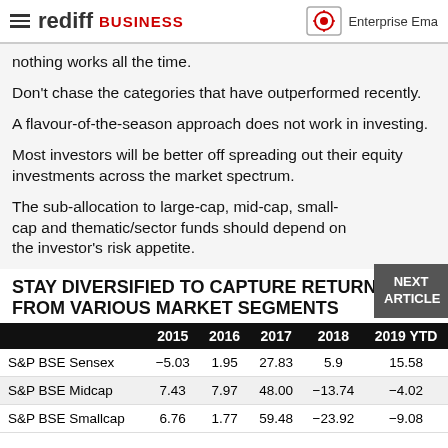rediff BUSINESS | Enterprise Ema...
nothing works all the time.
Don't chase the categories that have outperformed recently.
A flavour-of-the-season approach does not work in investing.
Most investors will be better off spreading out their equity investments across the market spectrum.
The sub-allocation to large-cap, mid-cap, small-cap and thematic/sector funds should depend on the investor's risk appetite.
STAY DIVERSIFIED TO CAPTURE RETURNS FROM VARIOUS MARKET SEGMENTS
|  | 2015 | 2016 | 2017 | 2018 | 2019 YTD |
| --- | --- | --- | --- | --- | --- |
| S&P BSE Sensex | -5.03 | 1.95 | 27.83 | 5.9 | 15.58 |
| S&P BSE Midcap | 7.43 | 7.97 | 48.00 | -13.74 | -4.02 |
| S&P BSE Smallcap | 6.76 | 1.77 | 59.48 | -23.92 | -9.08 |